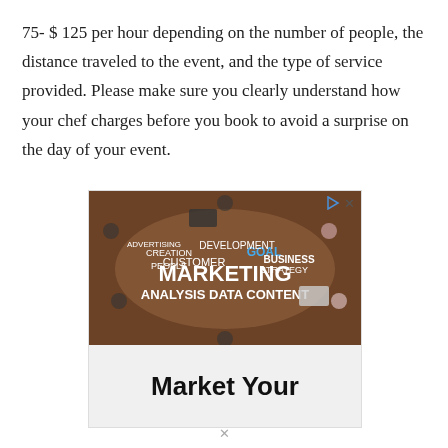75- $ 125 per hour depending on the number of people, the distance traveled to the event, and the type of service provided. Please make sure you clearly understand how your chef charges before you book to avoid a surprise on the day of your event.
[Figure (photo): Advertisement showing a marketing word cloud image with people around a table with laptops and phones, and a white banner at the bottom reading 'Market Your'. Small play and close icons in top-right corner.]